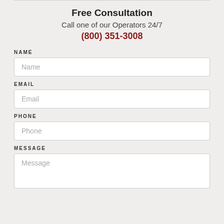Free Consultation
Call one of our Operators 24/7
(800) 351-3008
NAME
Name
EMAIL
Email
PHONE
Phone
MESSAGE
Message